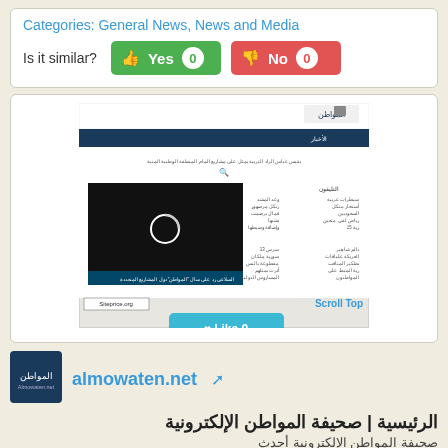Categories: General News, News and Media
Is it similar?  👍 Yes 0    👎 No 0
[Figure (screenshot): Screenshot of almowaten.net Arabic news website showing a video player with Arabic content and sidebar news links]
Scroll Top
Like 0
almowaten.net
الرئيسية | صحيفة المواطن الإلكترونية